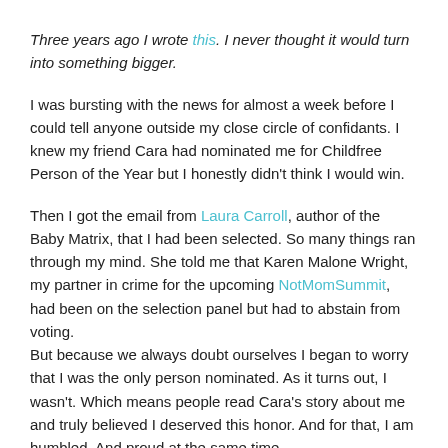Three years ago I wrote this. I never thought it would turn into something bigger.
I was bursting with the news for almost a week before I could tell anyone outside my close circle of confidants. I knew my friend Cara had nominated me for Childfree Person of the Year but I honestly didn't think I would win.
Then I got the email from Laura Carroll, author of the Baby Matrix, that I had been selected. So many things ran through my mind. She told me that Karen Malone Wright, my partner in crime for the upcoming NotMomSummit, had been on the selection panel but had to abstain from voting. But because we always doubt ourselves I began to worry that I was the only person nominated. As it turns out, I wasn't. Which means people read Cara's story about me and truly believed I deserved this honor. And for that, I am humbled. And proud at the same time.